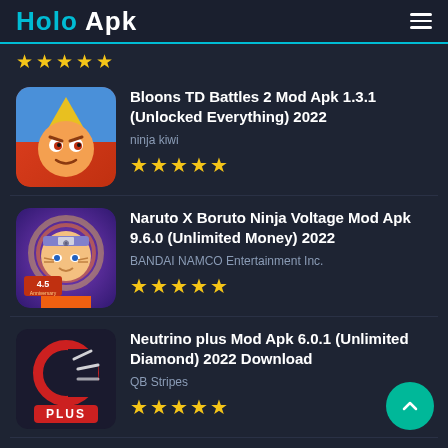Holo Apk
★★★★★ (partial, top)
[Figure (screenshot): Bloons TD Battles 2 app icon - cartoon character with red hat]
Bloons TD Battles 2 Mod Apk 1.3.1 (Unlocked Everything) 2022
ninja kiwi
★★★★★
[Figure (screenshot): Naruto X Boruto Ninja Voltage app icon - anime character with 4.5 Anniversary text]
Naruto X Boruto Ninja Voltage Mod Apk 9.6.0 (Unlimited Money) 2022
BANDAI NAMCO Entertainment Inc.
★★★★★
[Figure (screenshot): Neutrino Plus app icon - dark background with stylized C/magnet logo and PLUS text]
Neutrino plus Mod Apk 6.0.1 (Unlimited Diamond) 2022 Download
QB Stripes
★★★★★